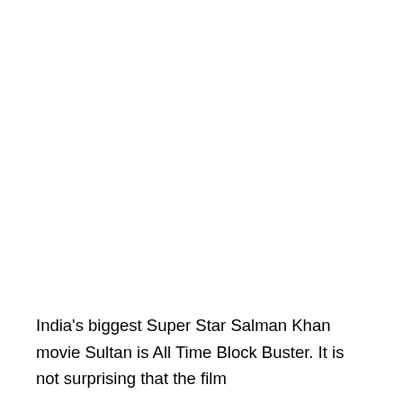India's biggest Super Star Salman Khan movie Sultan is All Time Block Buster. It is not surprising that the film bagged 300 crore in all across the globe in just three days.